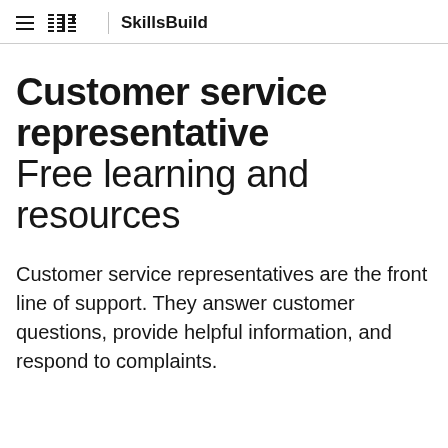IBM SkillsBuild
Customer service representative
Free learning and resources
Customer service representatives are the front line of support. They answer customer questions, provide helpful information, and respond to complaints.